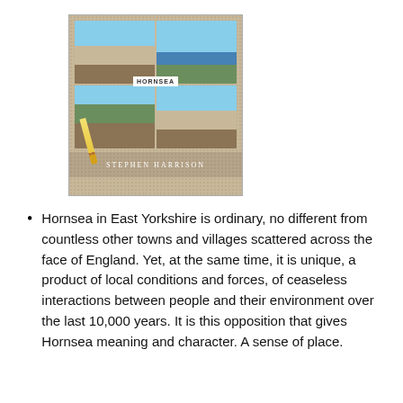[Figure (photo): Book cover for 'Hornsea' by Stephen Harrison. Sandy/tan textured background with a collage of four photographs showing coastal scenes: a beach with people, a sailing/marina scene, a church or green landscape, and a beach scene with horses. The word 'HORNSEA' appears as a label in the center of the photo collage. A pencil or pen is visible at the bottom left corner. The author name 'STEPHEN HARRISON' appears at the bottom in a darker tan/brown footer band.]
Hornsea in East Yorkshire is ordinary, no different from countless other towns and villages scattered across the face of England. Yet, at the same time, it is unique, a product of local conditions and forces, of ceaseless interactions between people and their environment over the last 10,000 years. It is this opposition that gives  Hornsea meaning and character. A sense of place.